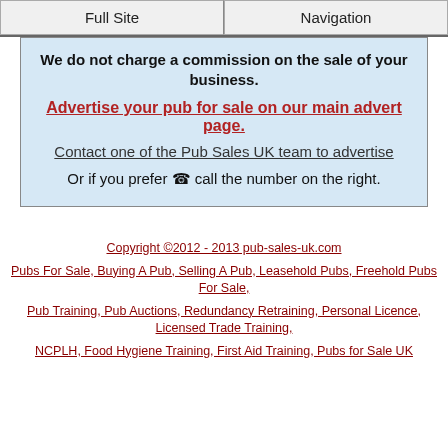Full Site | Navigation
We do not charge a commission on the sale of your business.
Advertise your pub for sale on our main advert page.
Contact one of the Pub Sales UK team to advertise
Or if you prefer ☎ call the number on the right.
Copyright ©2012 - 2013 pub-sales-uk.com
Pubs For Sale, Buying A Pub, Selling A Pub, Leasehold Pubs, Freehold Pubs For Sale,
Pub Training, Pub Auctions, Redundancy Retraining, Personal Licence, Licensed Trade Training,
NCPLH, Food Hygiene Training, First Aid Training, Pubs for Sale UK